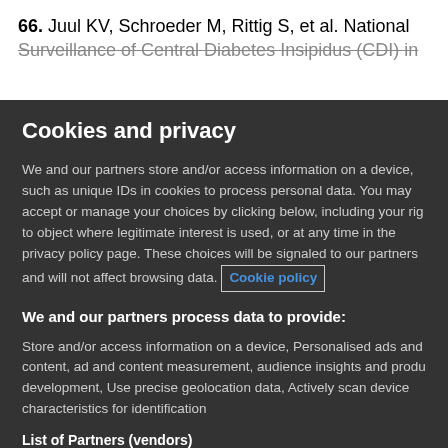66. Juul KV, Schroeder M, Rittig S, et al. National Surveillance of Central Diabetes Insipidus (CDI) in
Cookies and privacy
We and our partners store and/or access information on a device, such as unique IDs in cookies to process personal data. You may accept or manage your choices by clicking below, including your rig to object where legitimate interest is used, or at any time in the privacy policy page. These choices will be signaled to our partners and will not affect browsing data. Cookie policy
We and our partners process data to provide:
Store and/or access information on a device, Personalised ads and content, ad and content measurement, audience insights and produ development, Use precise geolocation data, Actively scan device characteristics for identification
List of Partners (vendors)
I Accept